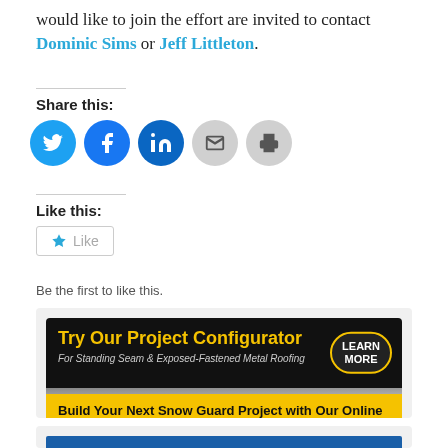would like to join the effort are invited to contact Dominic Sims or Jeff Littleton.
Share this:
[Figure (infographic): Social share icons: Twitter (blue), Facebook (blue), LinkedIn (dark blue), Email (gray), Print (gray)]
Like this:
[Figure (infographic): Like button with star icon and text 'Like']
Be the first to like this.
[Figure (infographic): Advertisement banner: Try Our Project Configurator - For Standing Seam & Exposed-Fastened Metal Roofing - LEARN MORE - Build Your Next Snow Guard Project with Our Online Tool]
[Figure (infographic): Second advertisement banner, partially visible, showing blue strip at bottom]